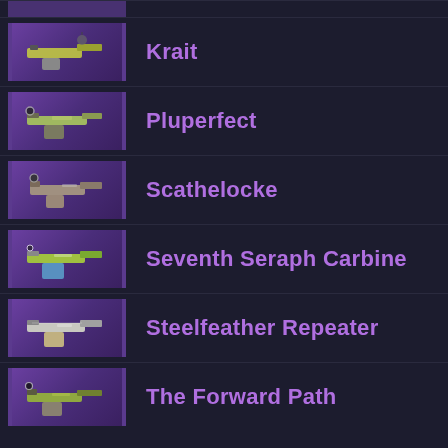Krait
Pluperfect
Scathelocke
Seventh Seraph Carbine
Steelfeather Repeater
The Forward Path